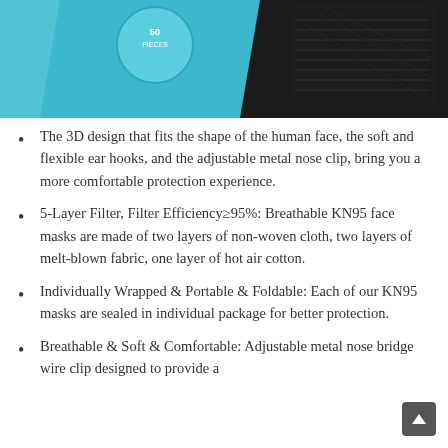[Figure (photo): Product image of KN95 face masks box with blue and black packaging, showing a stack of black KN95 masks]
The 3D design that fits the shape of the human face, the soft and flexible ear hooks, and the adjustable metal nose clip, bring you a more comfortable protection experience.
5-Layer Filter, Filter Efficiency≥95%: Breathable KN95 face masks are made of two layers of non-woven cloth, two layers of melt-blown fabric, one layer of hot air cotton.
Individually Wrapped & Portable & Foldable: Each of our KN95 masks are sealed in individual package for better protection.
Breathable & Soft & Comfortable: Adjustable metal nose bridge wire clip designed to provide a